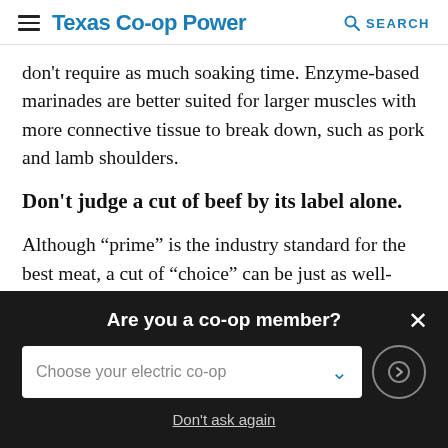Texas Co-op Power  SEARCH
don't require as much soaking time. Enzyme-based marinades are better suited for larger muscles with more connective tissue to break down, such as pork and lamb shoulders.
Don't judge a cut of beef by its label alone.
Although “prime” is the industry standard for the best meat, a cut of “choice” can be just as well-marbled. Look past the grading and inspect the meat yourself. Chances are, if it has a rich color and plenty of
Are you a co-op member? Choose your electric co-op  Don't ask again